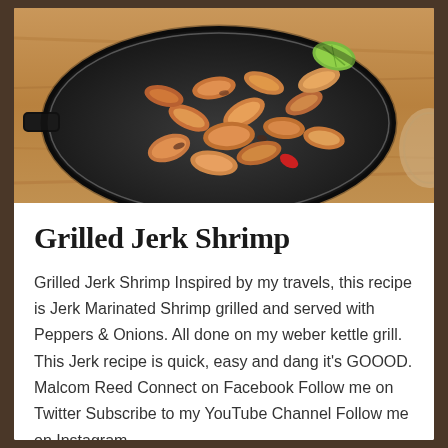[Figure (photo): Grilled jerk shrimp in a black cast iron skillet on a wooden surface, with lime wedge garnish. Shrimp appear seasoned and charred.]
Grilled Jerk Shrimp
Grilled Jerk Shrimp Inspired by my travels, this recipe is Jerk Marinated Shrimp grilled and served with Peppers & Onions. All done on my weber kettle grill. This Jerk recipe is quick, easy and dang it's GOOOD. Malcom Reed Connect on Facebook Follow me on Twitter Subscribe to my YouTube Channel Follow me on Instagram